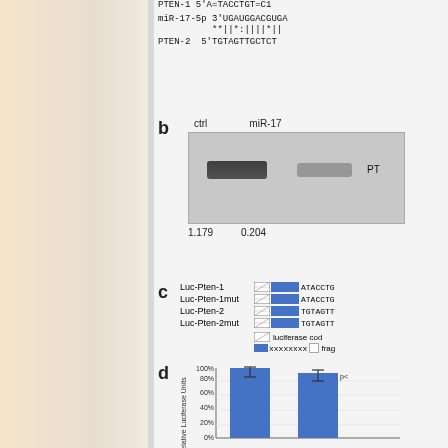[Figure (other): Sequence alignment showing PTEN-1 mRNA sequence and miR-17-5p binding with base-pair notation, and PTEN-2 sequence]
[Figure (photo): Western blot showing PTEN protein levels in ctrl and miR-17 conditions with quantification values 1.179 and 0.204, labeled PT (PTEN)]
[Figure (other): Legend for luciferase reporter constructs: Luc-Pten-1, Luc-Pten-1mut, Luc-Pten-2, Luc-Pten-2mut with hatch and blue box icons showing sequence fragments ATACCTG and TGTAGTT, plus luciferase coding and fragment legend]
[Figure (bar-chart): Bar chart showing relative luciferase units at 100% for control and approximately 88% for miR-17 condition with error bars, p-value annotation]